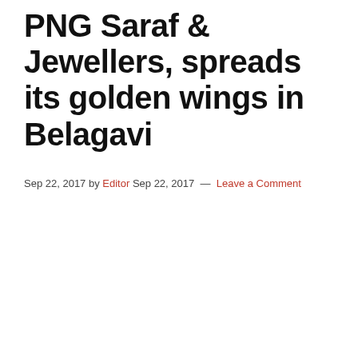PNG Saraf & Jewellers, spreads its golden wings in Belagavi
Sep 22, 2017 by Editor Sep 22, 2017 — Leave a Comment
[Figure (photo): Love Dale Central School advertisement banner showing school name, affiliation details, contact info, 'Hearty Congratulations!!! FOR SECURING' text, and partial student photo with rank indicators]
[Figure (screenshot): Belagavi Tech Meetup 2022 popup notification with purple/pink gradient image, title, description text and UXgrowth source]
[Figure (other): Bottom bar showing 99.4% (497/500) score between red circles and DISTRICT text]